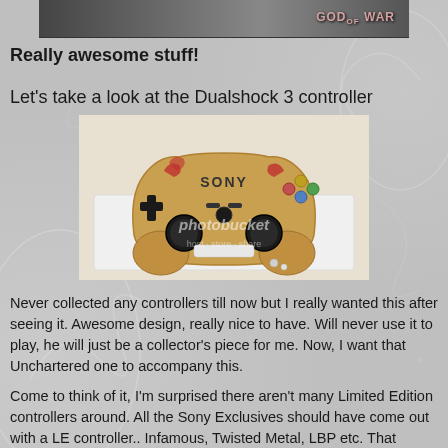[Figure (photo): Top portion of a product box showing 'GOD OF WAR' branding]
Really awesome stuff!
Let's take a look at the Dualshock 3 controller
[Figure (photo): A Sony Dualshock 3 limited edition God of War controller with gold/bronze coloring and red/dark accents, shown in packaging. Photobucket watermark visible.]
Never collected any controllers till now but I really wanted this after seeing it. Awesome design, really nice to have. Will never use it to play, he will just be a collector's piece for me. Now, I want that Unchartered one to accompany this.
Come to think of it, I'm surprised there aren't many Limited Edition controllers around. All the Sony Exclusives should have come out with a LE controller.. Infamous, Twisted Metal, LBP etc. That would  have hooked me on collecting controllers a long time